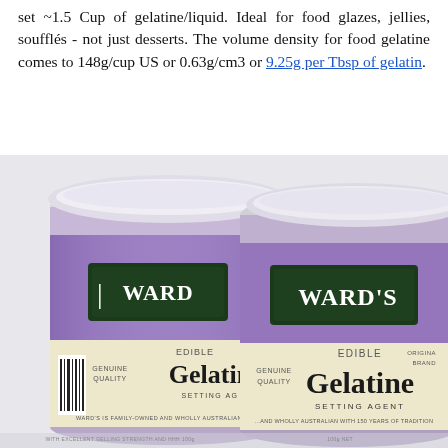set ~1.5 Cup of gelatine/liquid. Ideal for food glazes, jellies, soufflés - not just desserts. The volume density for food gelatine comes to 148g/cup US or 0.63g/cm3 or 9.25g per Tbsp of gelatin.
[Figure (photo): Two cylindrical tins of Ward's Edible Gelatine (Setting Agent) with purple and cream labels, photographed against a light grey/white background. The left tin is partially visible and slightly closer, the right tin is more fully visible and labeled 'WARD'S EDIBLE Gelatine SETTING AGENT'. Both tins have white plastic lids partially open at the top.]